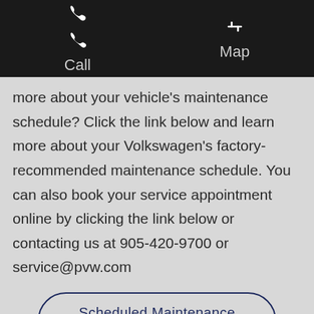Call   Map
more about your vehicle's maintenance schedule? Click the link below and learn more about your Volkswagen's factory-recommended maintenance schedule. You can also book your service appointment online by clicking the link below or contacting us at 905-420-9700 or service@pvw.com
Scheduled Maintenance Service